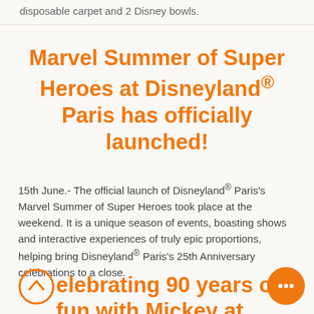disposable carpet and 2 Disney bowls.
Marvel Summer of Super Heroes at Disneyland® Paris has officially launched!
15th June.- The official launch of Disneyland® Paris's Marvel Summer of Super Heroes took place at the weekend. It is a unique season of events, boasting shows and interactive experiences of truly epic proportions, helping bring Disneyland® Paris's 25th Anniversary celebrations to a close.
Celebrating 90 years of fun with Mickey at